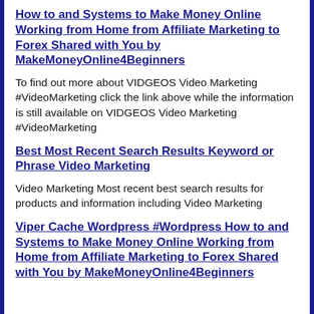How to and Systems to Make Money Online Working from Home from Affiliate Marketing to Forex Shared with You by MakeMoneyOnline4Beginners
To find out more about VIDGEOS Video Marketing #VideoMarketing click the link above while the information is still available on VIDGEOS Video Marketing #VideoMarketing
Best Most Recent Search Results Keyword or Phrase Video Marketing
Video Marketing Most recent best search results for products and information including Video Marketing
Viper Cache Wordpress #Wordpress How to and Systems to Make Money Online Working from Home from Affiliate Marketing to Forex Shared with You by MakeMoneyOnline4Beginners